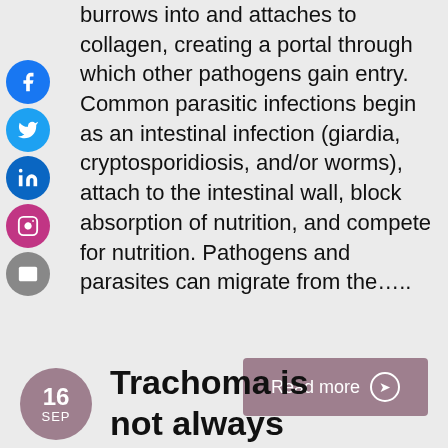burrows into and attaches to collagen, creating a portal through which other pathogens gain entry. Common parasitic infections begin as an intestinal infection (giardia, cryptosporidiosis, and/or worms), attach to the intestinal wall, block absorption of nutrition, and compete for nutrition. Pathogens and parasites can migrate from the…..
Read more ❯
16 SEP
Trachoma is not always